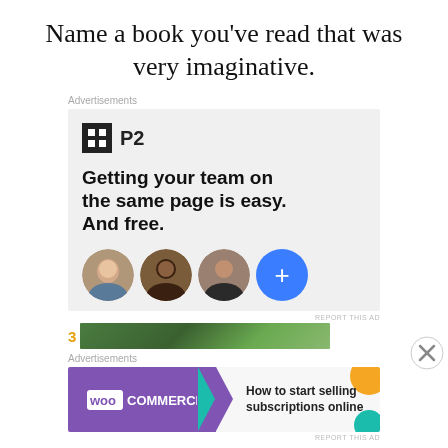Name a book you've read that was very imaginative.
Advertisements
[Figure (other): P2 advertisement with logo, headline 'Getting your team on the same page is easy. And free.' and three person avatars plus a blue plus button]
REPORT THIS AD
Advertisements
[Figure (other): WooCommerce advertisement: 'How to start selling subscriptions online']